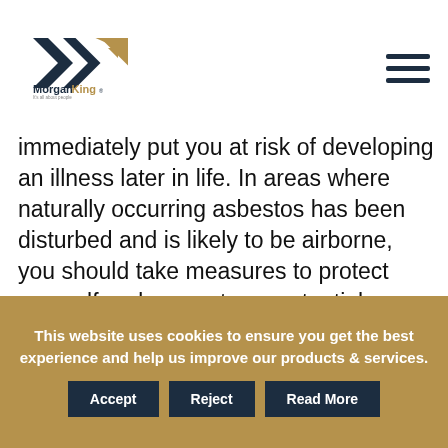[Figure (logo): MorganKing logo with geometric arrow/chevron shapes in navy and gold, text 'MorganKing' with tagline 'It's all about people']
immediately put you at risk of developing an illness later in life. In areas where naturally occurring asbestos has been disturbed and is likely to be airborne, you should take measures to protect yourself and prevent any potential exposure. If it hasn't been disturbed, then it most likely will not harm you.
This website uses cookies to ensure you get the best experience and help us improve our products & services.